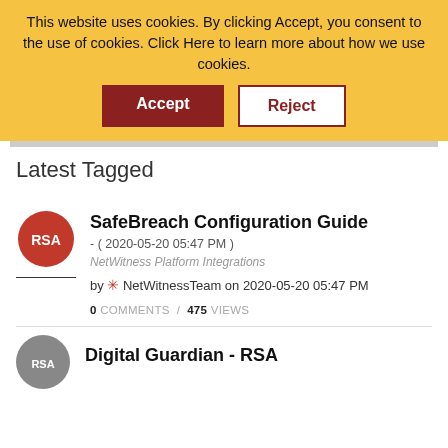This website uses cookies. By clicking Accept, you consent to the use of cookies. Click Here to learn more about how we use cookies.
Accept | Reject
Latest Tagged
SafeBreach Configuration Guide
- ( 2020-05-20 05:47 PM )
NetWitness Platform Integrations
by NetWitnessTeam on 2020-05-20 05:47 PM
0 COMMENTS / 475 VIEWS
Digital Guardian - RSA